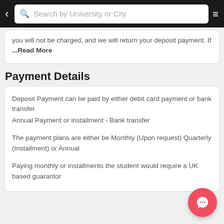Search by University or City
you will not be charged, and we will return your deposit payment. If ...Read More
Payment Details
Deposit Payment can be paid by either debit card payment or bank transfer
Annual Payment or installment - Bank transfer
The payment plans are either be Monthly (Upon request) Quarterly (Installment) or Annual
Paying monthly or installments the student would require a UK based guarantor